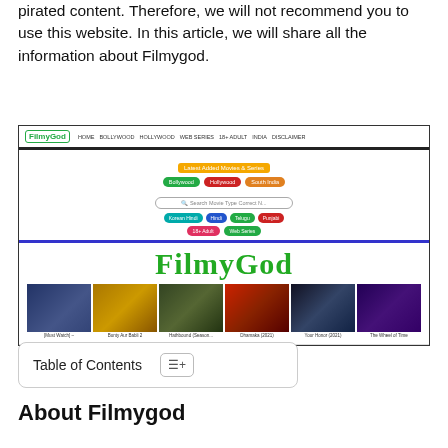pirated content. Therefore, we will not recommend you to use this website. In this article, we will share all the information about Filmygod.
[Figure (screenshot): Screenshot of Filmygod website showing navigation bar with categories (Home, Bollywood, Hollywood, Web Series, 18+ Adult, India, Disclaimer), colored category buttons (Bollywood, Hollywood, South India in green/red/orange), a search bar, row of genre buttons (Korean Hindi, Hindi, Telugu, Punjabi), bottom buttons (18+ Adult, Web Series), and a large FilmyGod logo with movie thumbnails below (Must Watch, Bunty Aur Babli 2, Hathbound Season, Dhamaka 2021, Your Honor 2021, The Wheel of Time).]
Table of Contents
About Filmygod